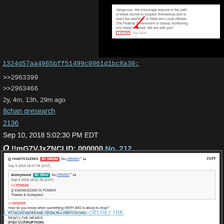[Figure (screenshot): Screenshot of a tweet/social media post about storms with a red arrow and red box annotation]
1324d57aa4965bff51499c0961d1bc8a30...
>>2963399
>>2963466
2y, 4m, 13h, 29m ago
8chan qresearch
2136
Sep 10, 2018 5:02:30 PM EDT
Q !!mG7VJxZNCI ID: 000000 No. 212
[Figure (screenshot): Embedded 8chan/imageboard post #2125 by Q !!mG7VJxZNCI containing a quoted Anonymous post about Q KNOWLEDGE IS POWER and a post about FISA CORRUPTION]
1Y08WAoKFwUQppFU9P6rmxcRtHkrjHK...